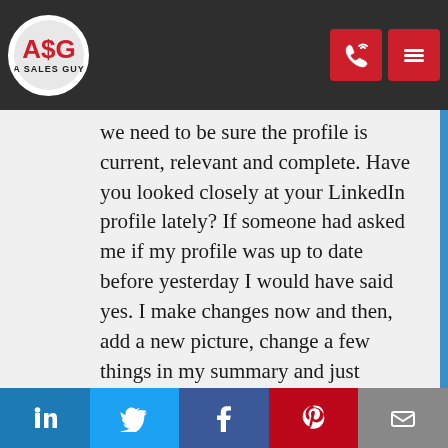A Sales Guy — header with logo and navigation icons
thought that this would make me look at things differently, even my own. Our looks so closely at the profiles that we need to be sure the profile is current, relevant and complete. Have you looked closely at your LinkedIn profile lately? If someone had asked me if my profile was up to date before yesterday I would have said yes. I make changes now and then, add a new picture, change a few things in my summary and just recently added a new fancy background (thanks to our ASG creative person, Ruth). I'm a recruiter and spend many hours a day looking at LinkedIn profiles of people I want to talk to, but never really think of
Social share bar: LinkedIn, Twitter, Facebook, Pinterest, Email